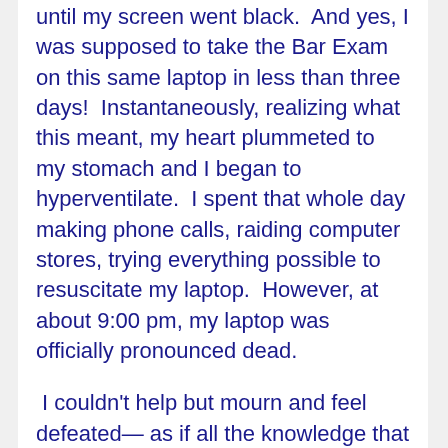until my screen went black.  And yes, I was supposed to take the Bar Exam on this same laptop in less than three days!  Instantaneously, realizing what this meant, my heart plummeted to my stomach and I began to hyperventilate.  I spent that whole day making phone calls, raiding computer stores, trying everything possible to resuscitate my laptop.  However, at about 9:00 pm, my laptop was officially pronounced dead.
I couldn't help but mourn and feel defeated— as if all the knowledge that I spent the last two months learning and memorizing no longer mattered because with this huge setback, I was surely doomed to fail.  But as the adrenaline rush subsided and I came to grips with reality, I remembered that long and steep road I had been trekking all those weeks of bar preparation to reach